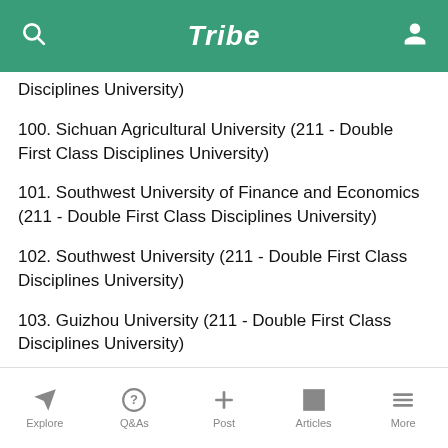Tribe
Disciplines University)
100. Sichuan Agricultural University (211 - Double First Class Disciplines University)
101. Southwest University of Finance and Economics (211 - Double First Class Disciplines University)
102. Southwest University (211 - Double First Class Disciplines University)
103. Guizhou University (211 - Double First Class Disciplines University)
104. Tibet University (211 - Double First Class Disciplines University)
105. Northwestern University (211 - Double First Class Disciplines University)
Explore  Q&As  Post  Articles  More